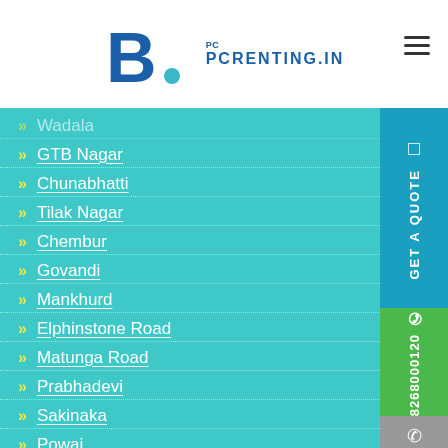[Figure (logo): PCRenting.in logo with blue B and teal dot]
Wadala
GTB Nagar
Chunabhatti
Tilak Nagar
Chembur
Govandi
Mankhurd
Elphinstone Road
Matunga Road
Prabhadevi
Sakinaka
Powai
Versova Andheri
Mumbai